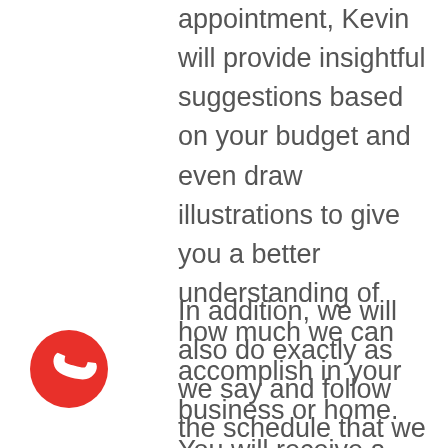appointment, Kevin will provide insightful suggestions based on your budget and even draw illustrations to give you a better understanding of how much we can accomplish in your business or home. You will receive a fully personalized solution that perfectly accentuates your everyday life and personal style, no matter the scale and complexity of your project.
In addition, we will also do exactly as we say and follow the schedule that we have agreed upon as your structural engineer. We typically take about three projects simultaneously, allowing Kevin to stay
[Figure (illustration): Red circular phone/call icon with white telephone handset symbol]